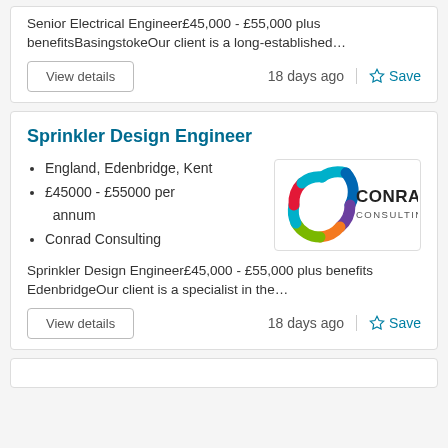Senior Electrical Engineer£45,000 - £55,000 plus benefitsBasingstokeOur client is a long-established...
18 days ago
Save
Sprinkler Design Engineer
England, Edenbridge, Kent
£45000 - £55000 per annum
Conrad Consulting
[Figure (logo): Conrad Consulting logo - letter C in multicolor with CONRAD CONSULTING text]
Sprinkler Design Engineer£45,000 - £55,000 plus benefits EdenbridgeOur client is a specialist in the...
18 days ago
Save